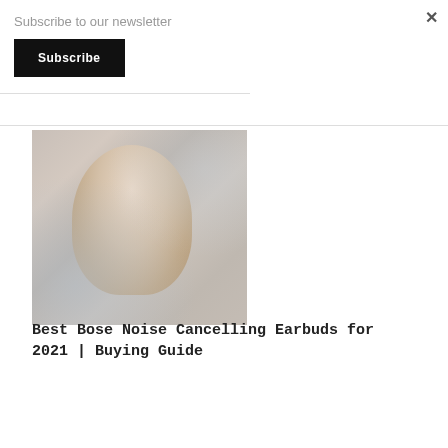Subscribe to our newsletter
Subscribe
×
[Figure (photo): Woman smiling with eyes closed, inserting a white wireless earbud into her ear, wearing a light gray outfit, soft blurred background]
Best Bose Noise Cancelling Earbuds for 2021 | Buying Guide